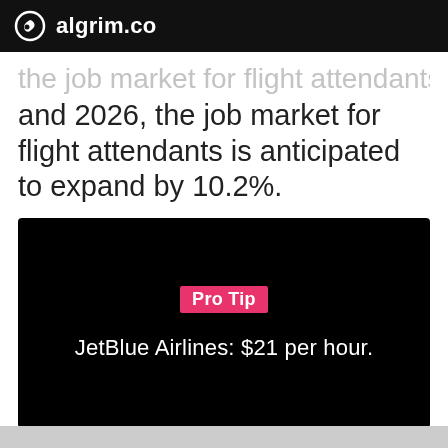algrim.co
and 2026, the job market for flight attendants is anticipated to expand by 10.2%.
[Figure (other): Black box with pink 'Pro Tip' label and white text reading 'JetBlue Airlines: $21 per hour.']